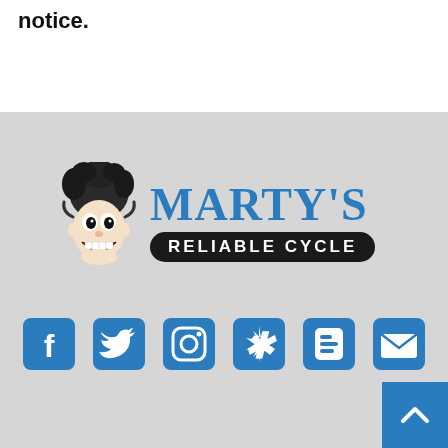notice.
[Figure (logo): Marty's Reliable Cycle logo with cartoon mascot character and blue text]
[Figure (infographic): Social media icons row: Facebook, Twitter, Instagram, Yelp, Blogger, Email]
Back to top button